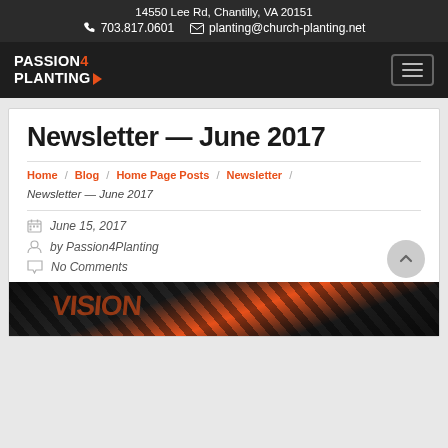14550 Lee Rd, Chantilly, VA 20151 | 703.817.0601 | planting@church-planting.net
[Figure (logo): Passion4Planting logo in white text on dark background with orange chevron arrow, and hamburger menu button]
Newsletter — June 2017
Home / Blog / Home Page Posts / Newsletter /
Newsletter — June 2017
June 15, 2017
by Passion4Planting
No Comments
[Figure (photo): Dark background image with orange and red text/graphics at the bottom of the page]